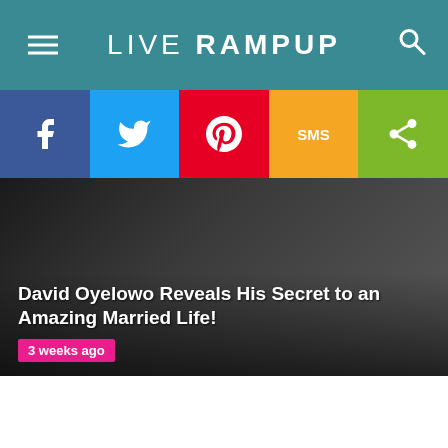LIVE RAMPUP
[Figure (infographic): Social sharing bar with Facebook, Twitter, Pinterest, SMS, and Share buttons]
David Oyelowo Reveals His Secret to an Amazing Married Life!
3 weeks ago
[Figure (photo): Article thumbnail showing a man in a dark suit, partially visible]
[Figure (other): White content card area below article image]
[Figure (other): Gray advertisement placeholder area]